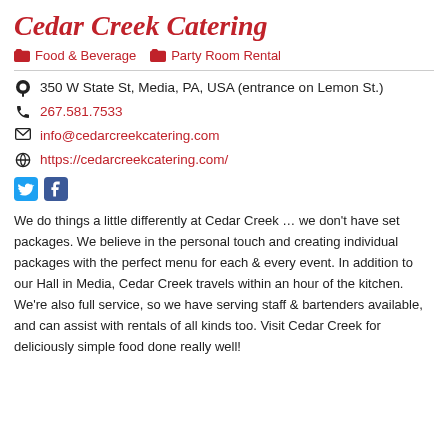Cedar Creek Catering
Food & Beverage   Party Room Rental
350 W State St, Media, PA, USA (entrance on Lemon St.)
267.581.7533
info@cedarcreekcatering.com
https://cedarcreekcatering.com/
We do things a little differently at Cedar Creek … we don't have set packages. We believe in the personal touch and creating individual packages with the perfect menu for each & every event. In addition to our Hall in Media, Cedar Creek travels within an hour of the kitchen. We're also full service, so we have serving staff & bartenders available, and can assist with rentals of all kinds too. Visit Cedar Creek for deliciously simple food done really well!